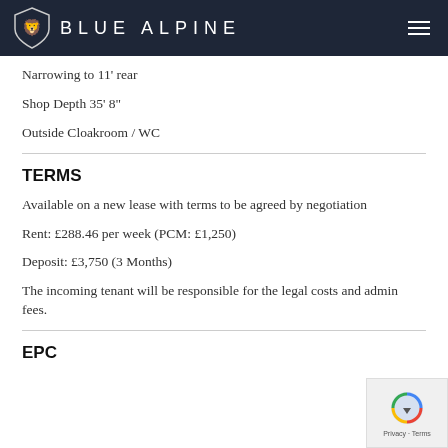BLUE ALPINE
Narrowing to 11' rear
Shop Depth 35' 8"
Outside Cloakroom / WC
TERMS
Available on a new lease with terms to be agreed by negotiation
Rent:  £288.46 per week  (PCM: £1,250)
Deposit: £3,750  (3 Months)
The incoming tenant will be responsible for the legal costs and admin fees.
EPC